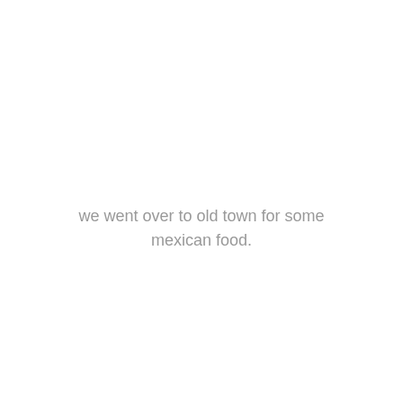we went over to old town for some mexican food.